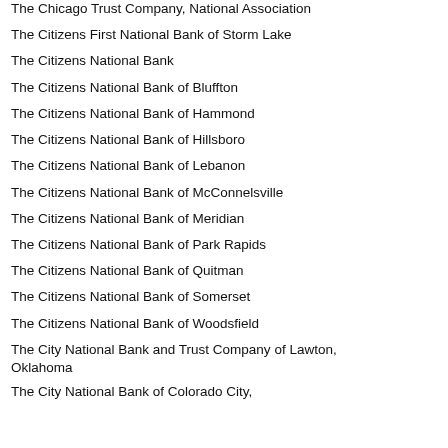The Chicago Trust Company, National Association
The Citizens First National Bank of Storm Lake
The Citizens National Bank
The Citizens National Bank of Bluffton
The Citizens National Bank of Hammond
The Citizens National Bank of Hillsboro
The Citizens National Bank of Lebanon
The Citizens National Bank of McConnelsville
The Citizens National Bank of Meridian
The Citizens National Bank of Park Rapids
The Citizens National Bank of Quitman
The Citizens National Bank of Somerset
The Citizens National Bank of Woodsfield
The City National Bank and Trust Company of Lawton, Oklahoma
The City National Bank of Colorado City